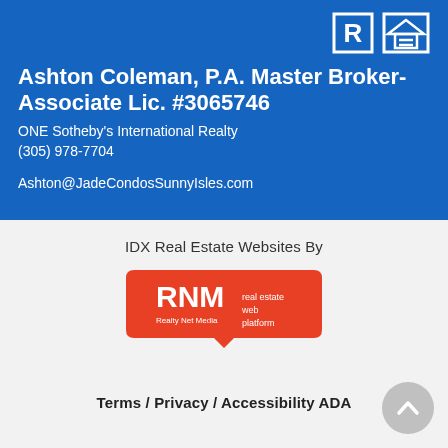[Figure (logo): Realtor and Equal Housing Opportunity logos in white on blue background]
Ashton Coleman, P.A. Master Broker-Associate Lic. #3065746
ONE Sotheby's International Realty
(305) 978-7704
Ashton@JadeCondosSunnyIsles.com
IDX Real Estate Websites By
[Figure (logo): RNM Realty Net Media real estate web platform logo - orange/red badge shape]
Terms / Privacy / Accessibility ADA